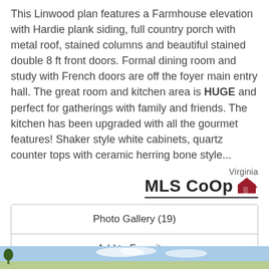This Linwood plan features a Farmhouse elevation with Hardie plank siding, full country porch with metal roof, stained columns and beautiful stained double 8 ft front doors. Formal dining room and study with French doors are off the foyer main entry hall. The great room and kitchen area is HUGE and perfect for gatherings with family and friends. The kitchen has been upgraded with all the gourmet features! Shaker style white cabinets, quartz counter tops with ceramic herring bone style...
[Figure (logo): Virginia MLS CoOp logo with house icon]
Photo Gallery (19)
Add to Favorites
View Details
[Figure (photo): Partial bottom strip showing outdoor scene with sky and trees]